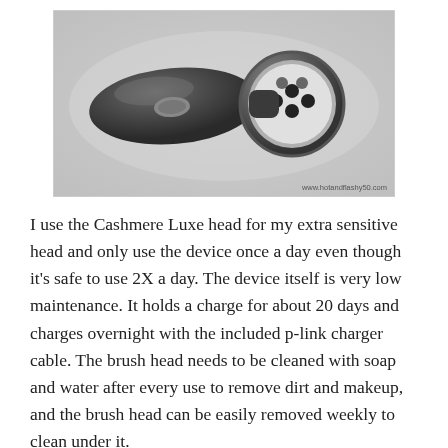[Figure (photo): Grayscale photo of a handheld facial cleansing brush device with a rounded handle and circular brush head with holes, on a light background. Watermark reads www.hotandflashy50.com]
I use the Cashmere Luxe head for my extra sensitive head and only use the device once a day even though it's safe to use 2X a day. The device itself is very low maintenance. It holds a charge for about 20 days and charges overnight with the included p-link charger cable. The brush head needs to be cleaned with soap and water after every use to remove dirt and makeup, and the brush head can be easily removed weekly to clean under it.